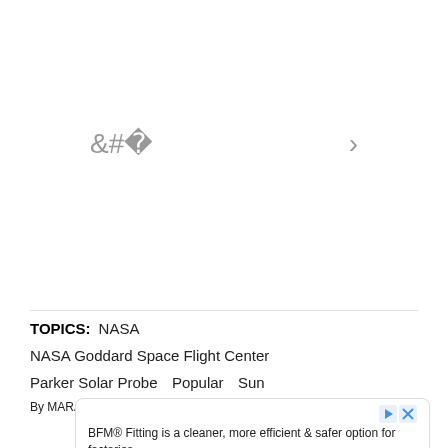[Figure (photo): Image carousel area with left and right navigation arrows on a white background]
TOPICS:   NASA
NASA Goddard Space Flight Center
Parker Solar Probe   Popular   Sun
By MARA JOHNSON-GROH, NASA'S GODDARD SPACE FLIGHT
BFM® Fitting is a cleaner, more efficient & safer option for factories.
OPEN
Ad